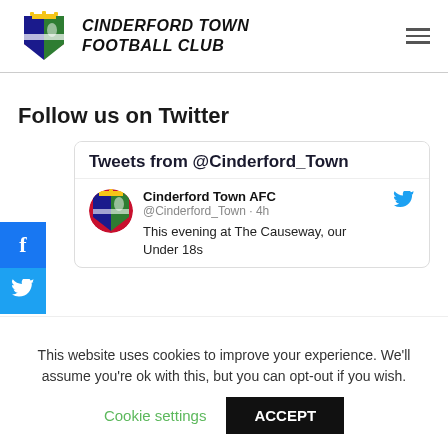CINDERFORD TOWN FOOTBALL CLUB
Follow us on Twitter
[Figure (screenshot): Twitter widget showing Tweets from @Cinderford_Town with a tweet from Cinderford Town AFC @Cinderford_Town · 4h: This evening at The Causeway, our Under 18s]
This website uses cookies to improve your experience. We'll assume you're ok with this, but you can opt-out if you wish.
Cookie settings   ACCEPT